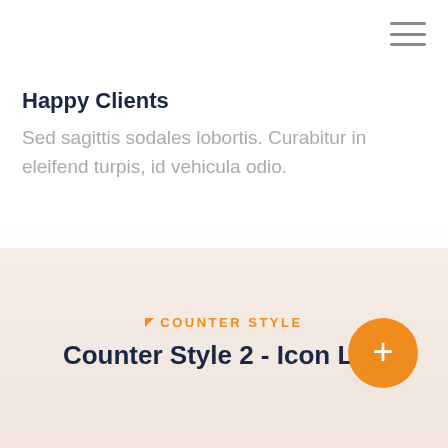[Figure (other): Hamburger menu icon (three horizontal lines) in top right corner]
Happy Clients
Sed sagittis sodales lobortis. Curabitur in eleifend turpis, id vehicula odio.
▲ COUNTER STYLE
Counter Style 2 - Icon Left
[Figure (other): Orange circular FAB button with a plus (+) sign]